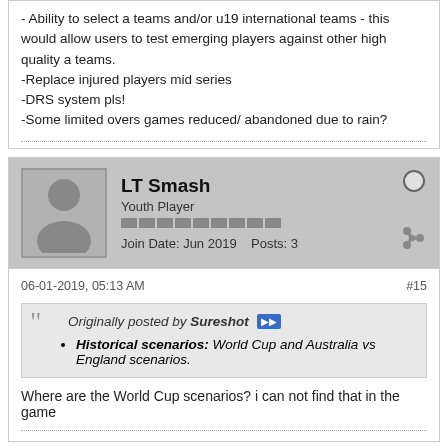- Ability to select a teams and/or u19 international teams - this would allow users to test emerging players against other high quality a teams.
-Replace injured players mid series
-DRS system pls!
-Some limited overs games reduced/ abandoned due to rain?
LT Smash
Youth Player
Join Date: Jun 2019   Posts: 3
06-01-2019, 05:13 AM   #15
Originally posted by Sureshot
Historical scenarios: World Cup and Australia vs England scenarios.
Where are the World Cup scenarios? i can not find that in the game